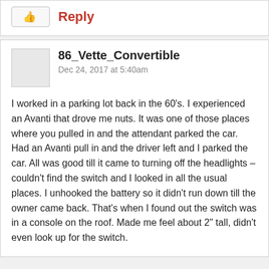[Figure (other): Like button (thumbs up icon) and Reply link]
86_Vette_Convertible
Dec 24, 2017 at 5:40am
I worked in a parking lot back in the 60's. I experienced an Avanti that drove me nuts. It was one of those places where you pulled in and the attendant parked the car. Had an Avanti pull in and the driver left and I parked the car. All was good till it came to turning off the headlights – couldn't find the switch and I looked in all the usual places. I unhooked the battery so it didn't run down till the owner came back. That's when I found out the switch was in a console on the roof. Made me feel about 2" tall, didn't even look up for the switch.